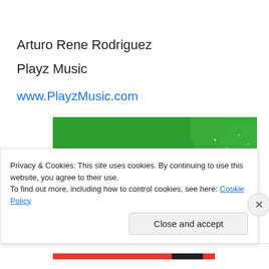Arturo Rene Rodriguez
Playz Music
www.PlayzMusic.com
[Figure (illustration): Green banner ad with text: The best real-time WordPress backup plugin]
Privacy & Cookies: This site uses cookies. By continuing to use this website, you agree to their use.
To find out more, including how to control cookies, see here: Cookie Policy
Close and accept